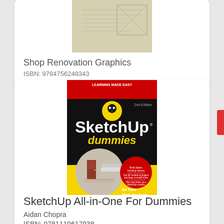[Figure (photo): Partial view of a book cover for Shop Renovation Graphics with architectural line drawings]
Shop Renovation Graphics
ISBN: 9784756248343
[Figure (photo): Book cover of SketchUp All-in-One For Dummies, 2nd Edition, showing a kitchen interior, by Bil Fane, Mark Harrison, Josh Reilly]
SketchUp All-in-One For Dummies
Aidan Chopra
ISBN: 9781119617938